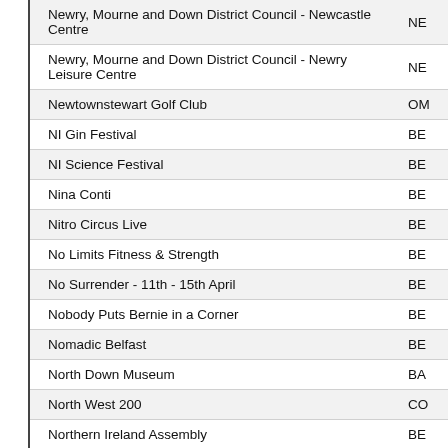| Name | Location |
| --- | --- |
| Newry, Mourne and Down District Council - Newcastle Centre | NE |
| Newry, Mourne and Down District Council - Newry Leisure Centre | NE |
| Newtownstewart Golf Club | OM |
| NI Gin Festival | BE |
| NI Science Festival | BE |
| Nina Conti | BE |
| Nitro Circus Live | BE |
| No Limits Fitness & Strength | BE |
| No Surrender - 11th - 15th April | BE |
| Nobody Puts Bernie in a Corner | BE |
| Nomadic Belfast | BE |
| North Down Museum | BA |
| North West 200 | CO |
| Northern Ireland Assembly | BE |
| Northern Ireland Association for Mental Health | BA |
| Northern Ireland Blood Transfusion Service | BE |
| Northern Ireland Cancer Fund For Children | BE |